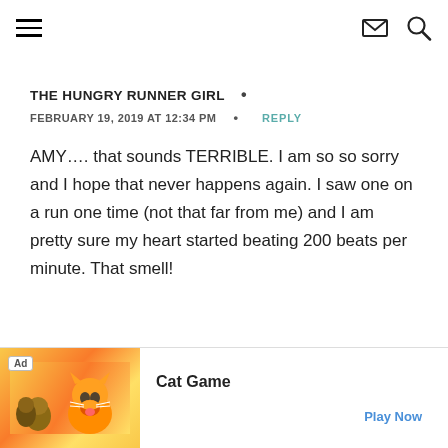THE HUNGRY RUNNER GIRL navigation header with hamburger menu, envelope icon, and search icon
THE HUNGRY RUNNER GIRL •
FEBRUARY 19, 2019 AT 12:34 PM  •  REPLY
AMY…. that sounds TERRIBLE. I am so so sorry and I hope that never happens again. I saw one on a run one time (not that far from me) and I am pretty sure my heart started beating 200 beats per minute. That smell!
[Figure (other): Mobile advertisement banner for Cat Game app, showing cartoon cat characters on a golden/orange background with Ad badge, Cat Game title text, and Play Now call-to-action link]